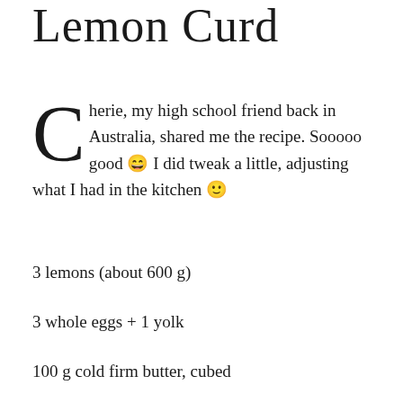Lemon Curd
Cherie, my high school friend back in Australia, shared me the recipe. Sooooo good 😀 I did tweak a little, adjusting what I had in the kitchen 🙂
3 lemons (about 600 g)
3 whole eggs + 1 yolk
100 g cold firm butter, cubed